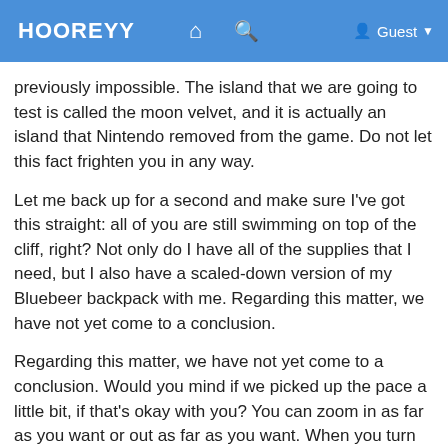HOOREYY   🏠   🔍   Guest
previously impossible. The island that we are going to test is called the moon velvet, and it is actually an island that Nintendo removed from the game. Do not let this fact frighten you in any way.
Let me back up for a second and make sure I've got this straight: all of you are still swimming on top of the cliff, right? Not only do I have all of the supplies that I need, but I also have a scaled-down version of my Bluebeer backpack with me. Regarding this matter, we have not yet come to a conclusion.
Regarding this matter, we have not yet come to a conclusion. Would you mind if we picked up the pace a little bit, if that's okay with you? You can zoom in as far as you want or out as far as you want. When you turn them on, one of the greatest benefits is that ACNH Nook Niles Tickets...